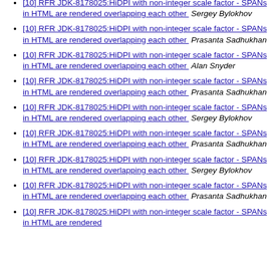<Swing Dev> [10] RFR JDK-8178025:HiDPI with non-integer scale factor - SPANs in HTML are rendered overlapping each other   Sergey Bylokhov
<Swing Dev> [10] RFR JDK-8178025:HiDPI with non-integer scale factor - SPANs in HTML are rendered overlapping each other   Prasanta Sadhukhan
<Swing Dev> [10] RFR JDK-8178025:HiDPI with non-integer scale factor - SPANs in HTML are rendered overlapping each other   Alan Snyder
<Swing Dev> [10] RFR JDK-8178025:HiDPI with non-integer scale factor - SPANs in HTML are rendered overlapping each other   Prasanta Sadhukhan
<Swing Dev> [10] RFR JDK-8178025:HiDPI with non-integer scale factor - SPANs in HTML are rendered overlapping each other   Sergey Bylokhov
<Swing Dev> [10] RFR JDK-8178025:HiDPI with non-integer scale factor - SPANs in HTML are rendered overlapping each other   Prasanta Sadhukhan
<Swing Dev> [10] RFR JDK-8178025:HiDPI with non-integer scale factor - SPANs in HTML are rendered overlapping each other   Sergey Bylokhov
<Swing Dev> [10] RFR JDK-8178025:HiDPI with non-integer scale factor - SPANs in HTML are rendered overlapping each other   Prasanta Sadhukhan
<Swing Dev> [10] RFR JDK-8178025:HiDPI with non-integer scale factor - SPANs in HTML are rendered overlapping each other